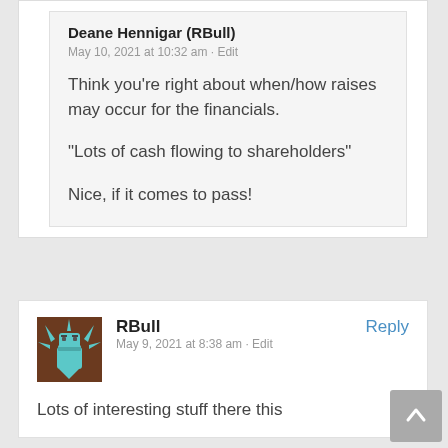Deane Hennigar (RBull)
May 10, 2021 at 10:32 am · Edit
Think you're right about when/how raises may occur for the financials.
“Lots of cash flowing to shareholders”
Nice, if it comes to pass!
RBull
May 9, 2021 at 8:38 am · Edit
[Figure (illustration): User avatar for RBull - pixel art style character with teal star shape and brown background]
Lots of interesting stuff there this